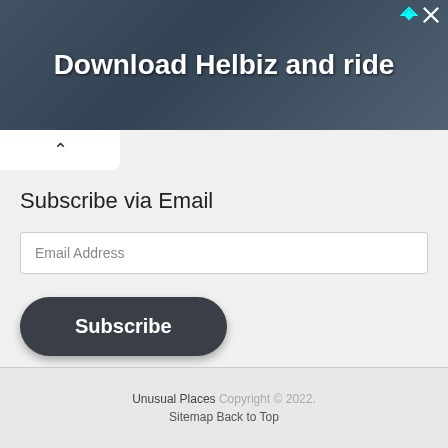[Figure (screenshot): Advertisement banner with dark background showing 'Download Helbiz and ride' text in white bold font with ad icons in top right corner]
Subscribe via Email
Email Address
Subscribe
[Figure (logo): RSS feed icon - orange/red square with white RSS signal symbol]
Unusual Places Copyright © 2022. Sitemap Back to Top